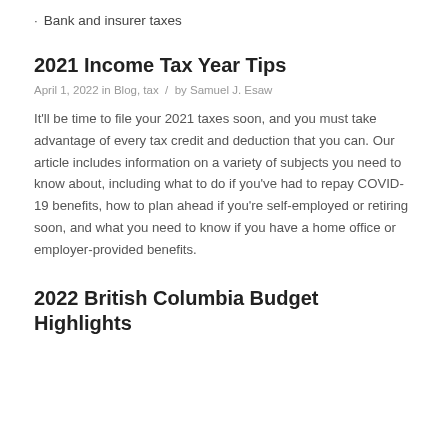Bank and insurer taxes
2021 Income Tax Year Tips
April 1, 2022 in Blog, tax  /  by Samuel J. Esaw
It'll be time to file your 2021 taxes soon, and you must take advantage of every tax credit and deduction that you can. Our article includes information on a variety of subjects you need to know about, including what to do if you've had to repay COVID-19 benefits, how to plan ahead if you're self-employed or retiring soon, and what you need to know if you have a home office or employer-provided benefits.
2022 British Columbia Budget Highlights